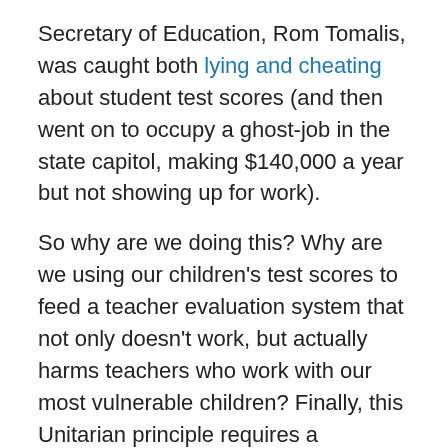Secretary of Education, Rom Tomalis, was caught both lying and cheating about student test scores (and then went on to occupy a ghost-job in the state capitol, making $140,000 a year but not showing up for work).
So why are we doing this? Why are we using our children's test scores to feed a teacher evaluation system that not only doesn't work, but actually harms teachers who work with our most vulnerable children? Finally, this Unitarian principle requires a commitment to a responsible search for truth, which means we have to be willing to examine the consequences of our own seeking. What if the collection and use of data on student achievement, as measured by test scores, is actually causing harm?
5. The right of conscience and the use of the democratic process within our congregations and